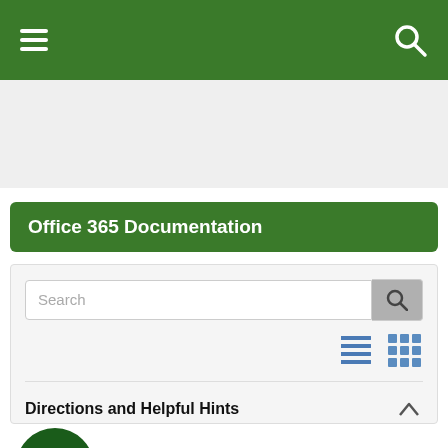[Figure (screenshot): Green navigation bar with hamburger menu icon on left and search icon on right]
[Figure (screenshot): Gray banner/advertisement area]
Office 365 Documentation
[Figure (screenshot): Search box panel with search input, list/grid view toggle icons, and Directions and Helpful Hints section header with a green arrow circle button]
Directions and Helpful Hints